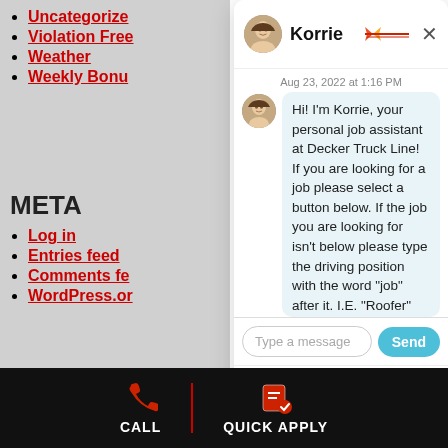Uncategorize
Violation Free
Weather
Weekly Bonu
META
Log in
Entries feed
Comments fe
WordPress.or
[Figure (screenshot): Chat widget with avatar of Korrie, a chat assistant for Decker Truck Line. The chat shows a message from Aug 23, 2022 at 1:16 PM: 'Hi! I'm Korrie, your personal job assistant at Decker Truck Line! If you are looking for a job please select a button below. If the job you are looking for isn't below please type the driving position with the word "job" after it. I.E. "Roofer"'. There is a text input field labeled 'Type a message' and a Send button. Footer shows 'Terms | Powered by Paradox'.]
CALL
QUICK APPLY